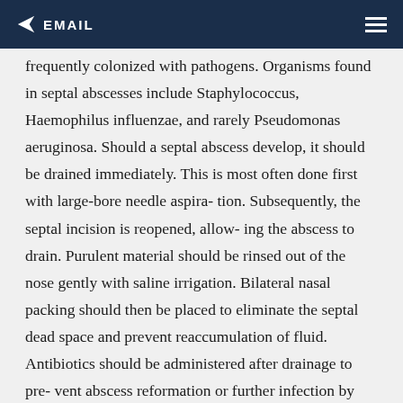EMAIL
frequently colonized with pathogens. Organisms found in septal abscesses include Staphylococcus, Haemophilus influenzae, and rarely Pseudomonas aeruginosa. Should a septal abscess develop, it should be drained immediately. This is most often done first with large-bore needle aspira- tion. Subsequently, the septal incision is reopened, allow- ing the abscess to drain. Purulent material should be rinsed out of the nose gently with saline irrigation. Bilateral nasal packing should then be placed to eliminate the septal dead space and prevent reaccumulation of fluid. Antibiotics should be administered after drainage to pre- vent abscess reformation or further infection by hematog- enous spread. Also, the patient should remain on antibiotics as long as the nasal packing is present.